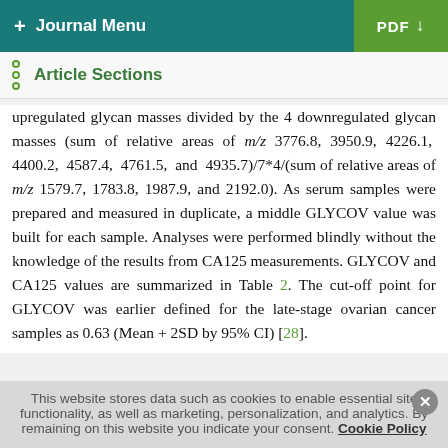+ Journal Menu   PDF ↓
Article Sections
upregulated glycan masses divided by the 4 downregulated glycan masses (sum of relative areas of m/z 3776.8, 3950.9, 4226.1, 4400.2, 4587.4, 4761.5, and 4935.7)/7*4/(sum of relative areas of m/z 1579.7, 1783.8, 1987.9, and 2192.0). As serum samples were prepared and measured in duplicate, a middle GLYCOV value was built for each sample. Analyses were performed blindly without the knowledge of the results from CA125 measurements. GLYCOV and CA125 values are summarized in Table 2. The cut-off point for GLYCOV was earlier defined for the late-stage ovarian cancer samples as 0.63 (Mean + 2SD by 95% CI) [28].
This website stores data such as cookies to enable essential site functionality, as well as marketing, personalization, and analytics. By remaining on this website you indicate your consent. Cookie Policy